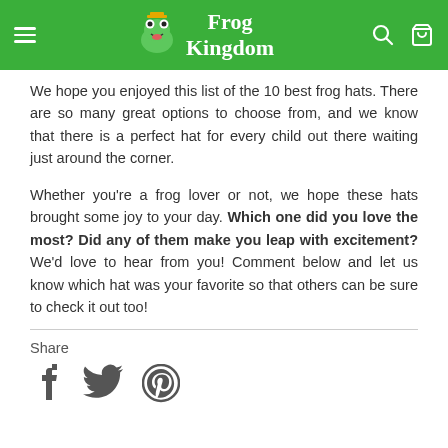Frog Kingdom
We hope you enjoyed this list of the 10 best frog hats. There are so many great options to choose from, and we know that there is a perfect hat for every child out there waiting just around the corner.
Whether you're a frog lover or not, we hope these hats brought some joy to your day. Which one did you love the most? Did any of them make you leap with excitement? We'd love to hear from you! Comment below and let us know which hat was your favorite so that others can be sure to check it out too!
Share